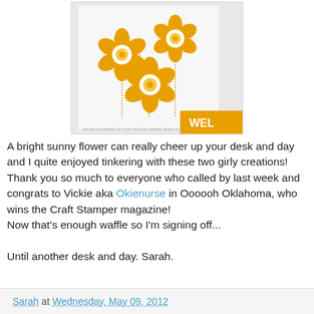[Figure (photo): A greeting card with three yellow/golden flowers on stems against a white background, with a yellow banner in the bottom right corner partially showing text 'WEL']
A bright sunny flower can really cheer up your desk and day and I quite enjoyed tinkering with these two girly creations! Thank you so much to everyone who called by last week and congrats to Vickie aka Okienurse in Oooooh Oklahoma, who wins the Craft Stamper magazine!
Now that's enough waffle so I'm signing off...

Until another desk and day. Sarah.
Sarah at Wednesday, May 09, 2012